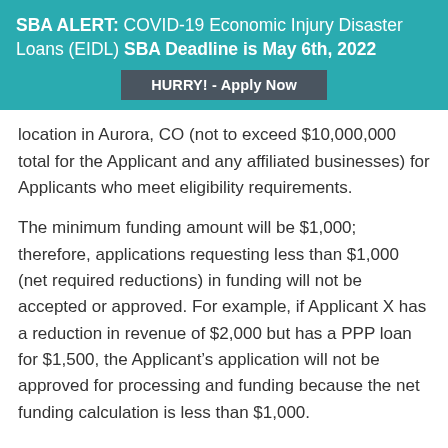SBA ALERT: COVID-19 Economic Injury Disaster Loans (EIDL) SBA Deadline is May 6th, 2022
HURRY! - Apply Now
location in Aurora, CO (not to exceed $10,000,000 total for the Applicant and any affiliated businesses) for Applicants who meet eligibility requirements.
The minimum funding amount will be $1,000; therefore, applications requesting less than $1,000 (net required reductions) in funding will not be accepted or approved. For example, if Applicant X has a reduction in revenue of $2,000 but has a PPP loan for $1,500, the Applicant's application will not be approved for processing and funding because the net funding calculation is less than $1,000.